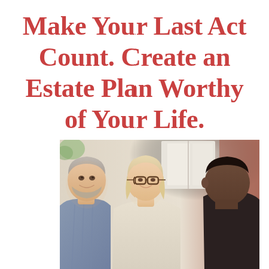Make Your Last Act Count. Create an Estate Plan Worthy of Your Life.
[Figure (photo): An older couple (gray-haired man with beard and blonde woman with glasses) smiling and meeting with an advisor (dark-haired man seen from behind) in a bright office or consulting room setting.]